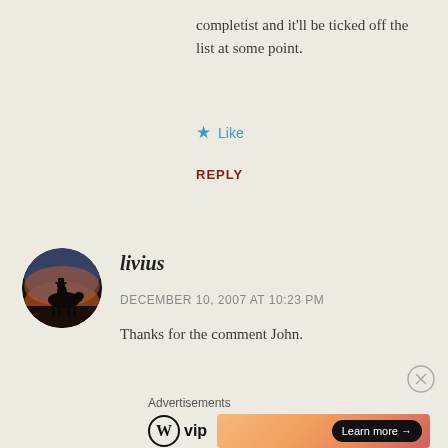completist and it'll be ticked off the list at some point.
Like
REPLY
[Figure (photo): Circular avatar image showing a silhouette of a person on horseback against a sunset sky]
livius
DECEMBER 10, 2007 AT 10:23 PM
Thanks for the comment John.
Advertisements
[Figure (logo): WordPress VIP logo with circle W mark and 'vip' text]
[Figure (other): Orange-pink gradient advertisement banner with 'Learn more →' button]